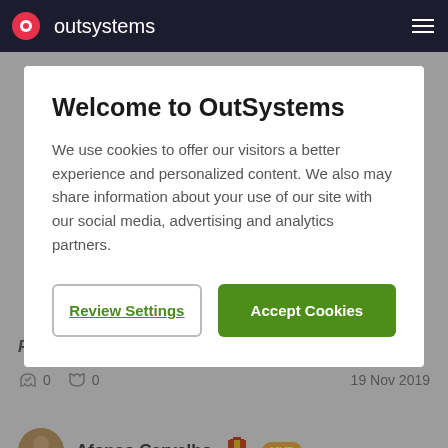outsystems
Welcome to OutSystems
We use cookies to offer our visitors a better experience and personalized content. We also may share information about your use of our site with our social media, advertising and analytics partners.
Review Settings
Accept Cookies
RIK
0  0  19 Nov 2019
Afonso Carvalho  MVP